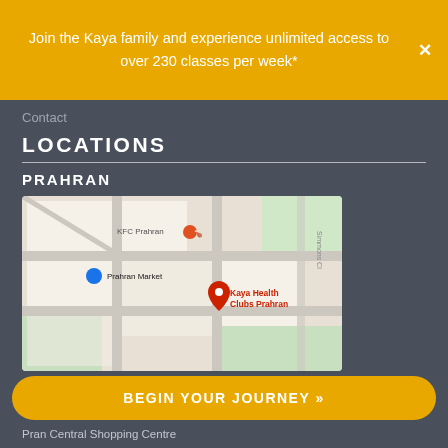Join the Kaya family and experience unlimited access to over 230 classes per week*
Contact
LOCATIONS
PRAHRAN
[Figure (map): Google map showing location of Kaya Health Clubs Prahran near Prahran Market and KFC Prahran]
BEGIN YOUR JOURNEY »
Pran Central Shopping Centre